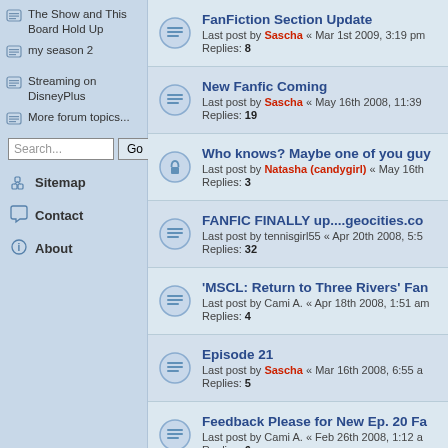The Show and This Board Hold Up
my season 2
Streaming on DisneyPlus
More forum topics...
Search...
Sitemap
Contact
About
FanFiction Section Update
Last post by Sascha « Mar 1st 2009, 3:19 pm
Replies: 8
New Fanfic Coming
Last post by Sascha « May 16th 2008, 11:39
Replies: 19
Who knows? Maybe one of you guy
Last post by Natasha (candygirl) « May 16th
Replies: 3
FANFIC FINALLY up....geocities.co
Last post by tennisgirl55 « Apr 20th 2008, 5:5
Replies: 32
'MSCL: Return to Three Rivers' Fan
Last post by Cami A. « Apr 18th 2008, 1:51 am
Replies: 4
Episode 21
Last post by Sascha « Mar 16th 2008, 6:55 a
Replies: 5
Feedback Please for New Ep. 20 Fa
Last post by Cami A. « Feb 26th 2008, 1:12 a
Replies: 6
Fanfiction Episodes, #20...
Last post by Christina_in_color « Feb 16th 20
Replies: 51
Fan Fiction
Last post by dTheater « Aug 24th 2007, 8:59
Replies: 5
MSCL...